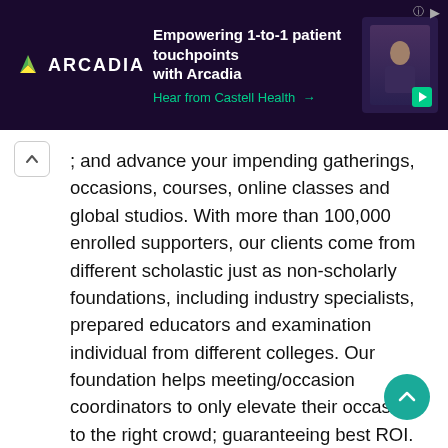[Figure (screenshot): Arcadia advertisement banner with dark purple background, Arcadia logo with triangle icon on left, headline 'Empowering 1-to-1 patient touchpoints with Arcadia', green sublink 'Hear from Castell Health →', and a photo of a person on the right with a teal play button]
and advance your impending gatherings, occasions, courses, online classes and global studios. With more than 100,000 enrolled supporters, our clients come from different scholastic just as non-scholarly foundations, including industry specialists, prepared educators and examination individual from different colleges. Our foundation helps meeting/occasion coordinators to only elevate their occasion to the right crowd; guaranteeing best ROI. With us, giving out data about your meeting/occasion is only a couple of snaps away. Join ICA today and get free gathering cautions for meetings of your decision!
Direct scholastic gatherings worldwide through global meeting cautions (ICA) site
The internet based world makes you mindful of everything